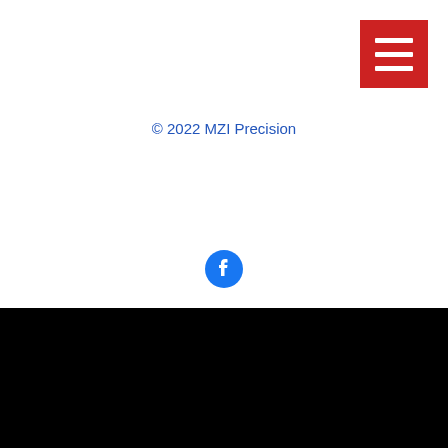[Figure (logo): Red hamburger menu button with three white horizontal lines in top-right corner]
© 2022 MZI Precision
[Figure (other): Facebook social media icon - blue circle with white Facebook 'f' logo]
[Figure (other): White phone/call icon on black background]
Office Phone Number:
(714) 379-6505
Mobile Phone Number: